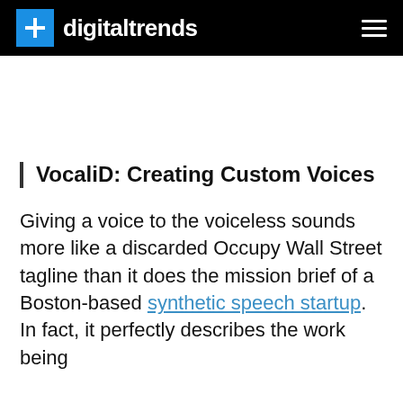digitaltrends
VocaliD: Creating Custom Voices
Giving a voice to the voiceless sounds more like a discarded Occupy Wall Street tagline than it does the mission brief of a Boston-based synthetic speech startup. In fact, it perfectly describes the work being